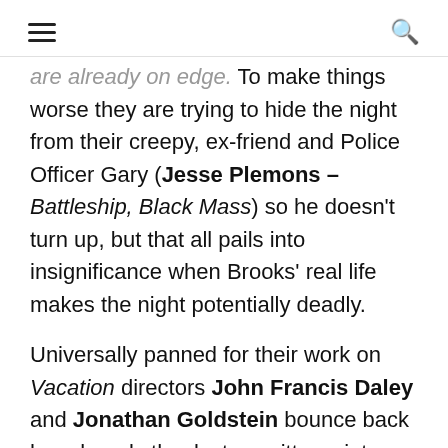≡   🔍
are already on edge. To make things worse they are trying to hide the night from their creepy, ex-friend and Police Officer Gary (Jesse Plemons – Battleship, Black Mass) so he doesn't turn up, but that all pails into insignificance when Brooks' real life makes the night potentially deadly.

Universally panned for their work on Vacation directors John Francis Daley and Jonathan Goldstein bounce back here largely thanks to a witty script written by Mark Perez (Accepted,